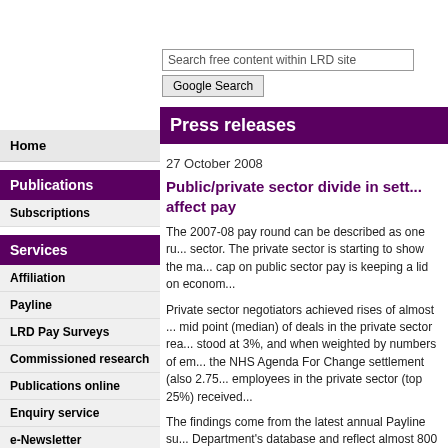[Figure (screenshot): Search input field with placeholder text 'Search free content within LRD site' and a Google Search button below it]
Press releases
27 October 2008
Public/private sector divide in sett... affect pay
The 2007-08 pay round can be described as one ru... sector. The private sector is starting to show the ma... cap on public sector pay is keeping a lid on econom...
Private sector negotiators achieved rises of almost ... mid point (median) of deals in the private sector rea... stood at 3%, and when weighted by numbers of em... the NHS Agenda For Change settlement (also 2.75... employees in the private sector (top 25%) received...
The findings come from the latest annual Payline su... Department's database and reflect almost 800 agre... unions in the UK, covering around 6.3 million emplo... the October issue of Workplace Report.
Home
Publications
Subscriptions
Services
Affiliation
Payline
LRD Pay Surveys
Commissioned research
Publications online
Enquiry service
e-Newsletter
Pay and prices
Participate